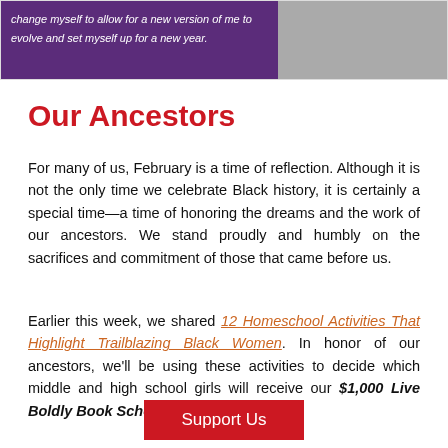[Figure (photo): Top image showing a purple box with italic white quote text reading 'change myself to allow for a new version of me to evolve and set myself up for a new year.' alongside a grayscale photo of a person wearing a mask with braided hair.]
Our Ancestors
For many of us, February is a time of reflection. Although it is not the only time we celebrate Black history, it is certainly a special time—a time of honoring the dreams and the work of our ancestors. We stand proudly and humbly on the sacrifices and commitment of those that came before us.
Earlier this week, we shared 12 Homeschool Activities That Highlight Trailblazing Black Women. In honor of our ancestors, we'll be using these activities to decide which middle and high school girls will receive our $1,000 Live Boldly Book Scholarship.
Support Us